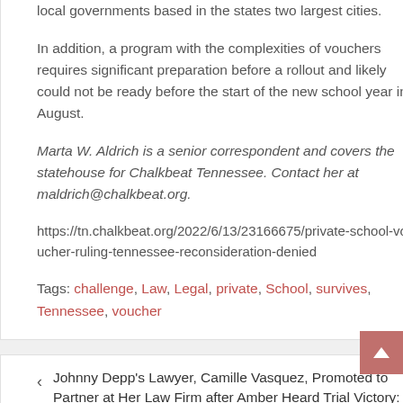local governments based in the states two largest cities.
In addition, a program with the complexities of vouchers requires significant preparation before a rollout and likely could not be ready before the start of the new school year in August.
Marta W. Aldrich is a senior correspondent and covers the statehouse for Chalkbeat Tennessee. Contact her at maldrich@chalkbeat.org.
https://tn.chalkbeat.org/2022/6/13/23166675/private-school-voucher-ruling-tennessee-reconsideration-denied
Tags: challenge, Law, Legal, private, School, survives, Tennessee, voucher
Johnny Depp's Lawyer, Camille Vasquez, Promoted to Partner at Her Law Firm after Amber Heard Trial Victory